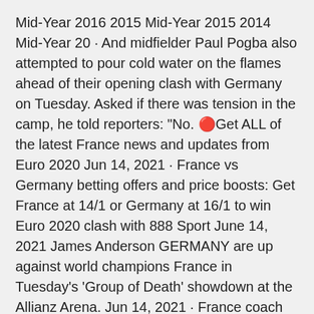Mid-Year 2016 2015 Mid-Year 2015 2014 Mid-Year 20 · And midfielder Paul Pogba also attempted to pour cold water on the flames ahead of their opening clash with Germany on Tuesday. Asked if there was tension in the camp, he told reporters: "No. 🔴Get ALL of the latest France news and updates from Euro 2020 Jun 14, 2021 · France vs Germany betting offers and price boosts: Get France at 14/1 or Germany at 16/1 to win Euro 2020 clash with 888 Sport June 14, 2021 James Anderson GERMANY are up against world champions France in Tuesday's 'Group of Death' showdown at the Allianz Arena. Jun 14, 2021 · France coach Didier Deschamps will hope no such shocks occur when the national team kicks off their European Championships campaign in Munich against an inconsistent Germany side.